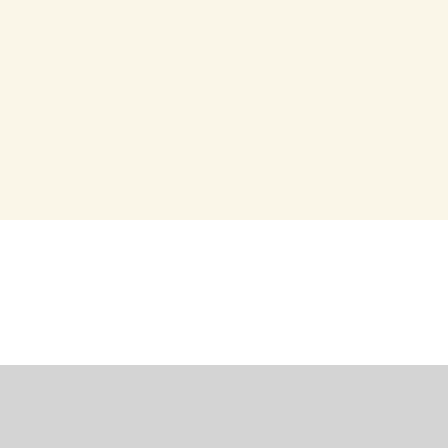[Figure (other): Cream/beige background block filling top portion of page]
Related
BBNaija Eviction: Organizers
BBNaija S7: Ilebaye, Groovy,